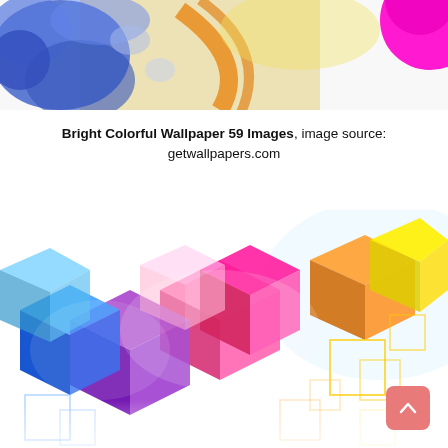[Figure (illustration): Colorful abstract wallpaper snippet showing blue, yellow, orange, magenta paint splashes on white background]
Bright Colorful Wallpaper 59 Images, image source: getwallpapers.com
[Figure (illustration): Bright colorful 3D geometric shapes (cubes and squares) in rainbow colors — pink, magenta, purple, blue, cyan, orange, yellow — scattered on white background with geometric square outlines]